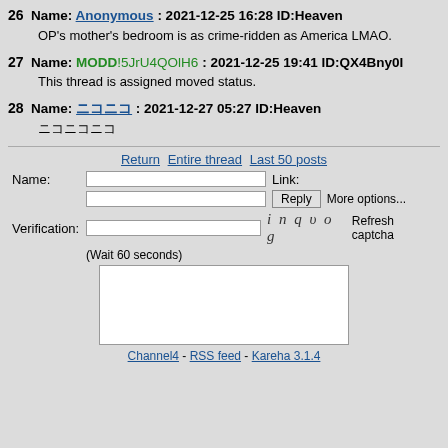26 Name: Anonymous : 2021-12-25 16:28 ID:Heaven
OP's mother's bedroom is as crime-ridden as America LMAO.
27 Name: MODD!5JrU4QOlH6 : 2021-12-25 19:41 ID:QX4Bny0I
This thread is assigned moved status.
28 Name: ニコニコ : 2021-12-27 05:27 ID:Heaven
ニコニコニコ
Return  Entire thread  Last 50 posts
Name:
Link:
Reply  More options...
Verification:
inquog  Refresh captcha
(Wait 60 seconds)
Channel4 - RSS feed - Kareha 3.1.4